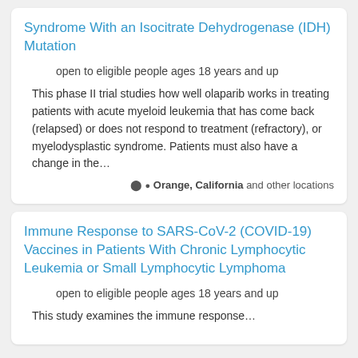Syndrome With an Isocitrate Dehydrogenase (IDH) Mutation
open to eligible people ages 18 years and up
This phase II trial studies how well olaparib works in treating patients with acute myeloid leukemia that has come back (relapsed) or does not respond to treatment (refractory), or myelodysplastic syndrome. Patients must also have a change in the…
Orange, California and other locations
Immune Response to SARS-CoV-2 (COVID-19) Vaccines in Patients With Chronic Lymphocytic Leukemia or Small Lymphocytic Lymphoma
open to eligible people ages 18 years and up
This study examines the immune response…